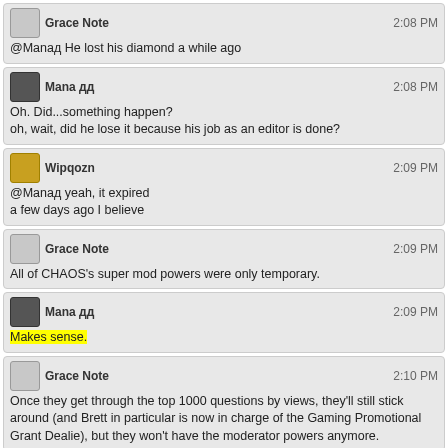Grace Note 2:08 PM @Manaд He lost his diamond a while ago
Mana дд 2:08 PM Oh. Did...something happen? oh, wait, did he lose it because his job as an editor is done?
Wipqozn 2:09 PM @Manaд yeah, it expired a few days ago I believe
Grace Note 2:09 PM All of CHAOS's super mod powers were only temporary.
Mana дд 2:09 PM Makes sense.
Grace Note 2:10 PM Once they get through the top 1000 questions by views, they'll still stick around (and Brett in particular is now in charge of the Gaming Promotional Grant Dealie), but they won't have the moderator powers anymore.
FallenAngelEyes 2:13 PM Woo, Australia's finally got their R18+ video game rating
Wipqozn 2:14 PM @Lazers I'm leaving a comment on how he can improve that question, since "share you experiences" isn't a valid question, but not sure how to word it.